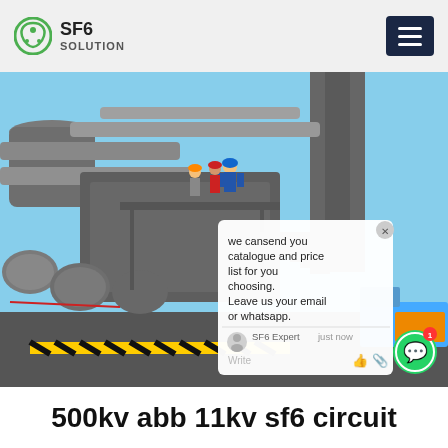SF6 SOLUTION
[Figure (photo): Outdoor industrial SF6 gas-insulated electrical substation equipment with large cylindrical tanks and pipe assemblies. Several workers in hard hats are visible on metal grating platforms around the equipment. A chat popup overlay is visible on the right side of the image reading: 'we can send you catalogue and price list for you choosing. Leave us your email or whatsapp.' with agent label 'SF6 Expert' and timestamp 'just now'.]
500kv abb 11kv sf6 circuit